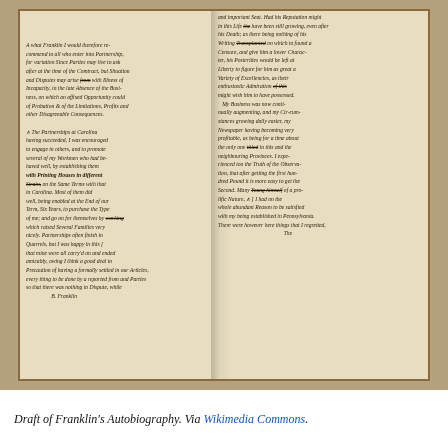[Figure (photo): Photograph of an open manuscript book showing handwritten pages from the Draft of Franklin's Autobiography. The pages show cursive handwriting in two columns with brown ink on aged cream/yellowed paper. The book has a brown leather binding visible at the edges.]
Draft of Franklin's Autobiography. Via Wikimedia Commons.